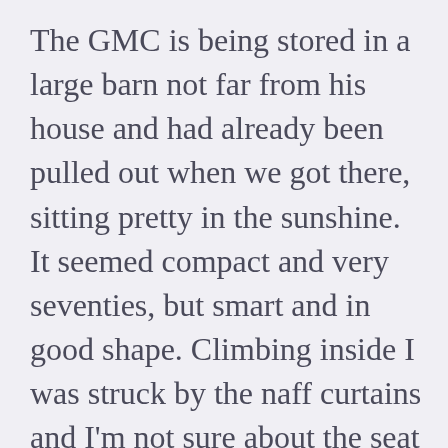The GMC is being stored in a large barn not far from his house and had already been pulled out when we got there, sitting pretty in the sunshine. It seemed compact and very seventies, but smart and in good shape. Climbing inside I was struck by the naff curtains and I'm not sure about the seat colour but it fired right up and off we went – Jerry at the wheel as we had a noon appointment to make back in Traverse City. I was struck how